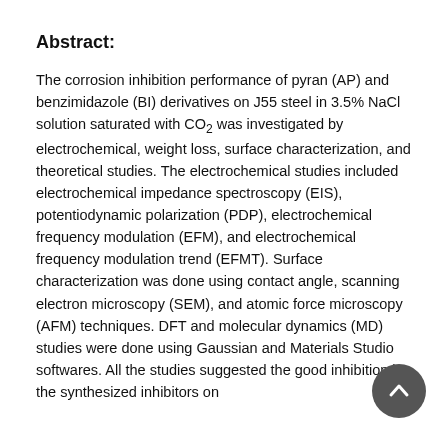Abstract:
The corrosion inhibition performance of pyran (AP) and benzimidazole (BI) derivatives on J55 steel in 3.5% NaCl solution saturated with CO₂ was investigated by electrochemical, weight loss, surface characterization, and theoretical studies. The electrochemical studies included electrochemical impedance spectroscopy (EIS), potentiodynamic polarization (PDP), electrochemical frequency modulation (EFM), and electrochemical frequency modulation trend (EFMT). Surface characterization was done using contact angle, scanning electron microscopy (SEM), and atomic force microscopy (AFM) techniques. DFT and molecular dynamics (MD) studies were done using Gaussian and Materials Studio softwares. All the studies suggested the good inhibition by the synthesized inhibitors on